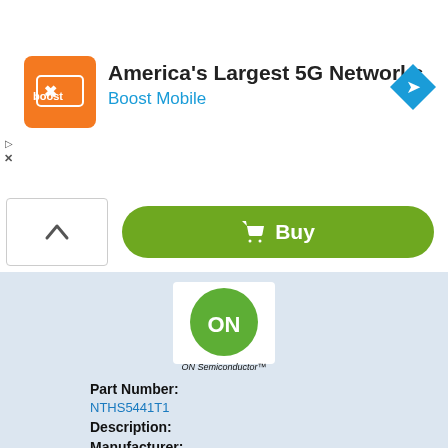[Figure (screenshot): Boost Mobile advertisement banner with orange logo square, text 'America's Largest 5G Networks' and 'Boost Mobile', and a blue diamond navigation arrow icon on the right]
[Figure (screenshot): Green Buy button with shopping cart icon and text 'Buy', with a chevron-up control on the left]
[Figure (logo): ON Semiconductor logo - green circle with white 'ON' text and 'ON Semiconductor' wordmark below]
Part Number:
NTHS5441T1
Description:
Manufacturer:
ON Semiconductor
Datasheet:
NTHS5441T1.pdf (6 pages)